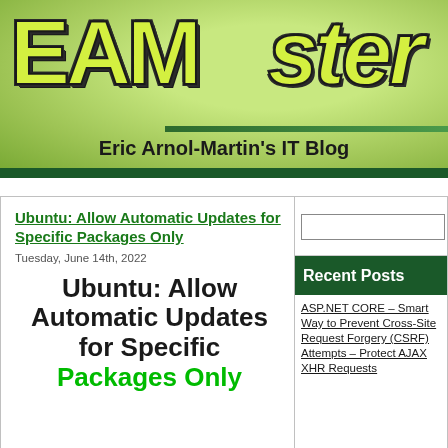EAMster – Eric Arnol-Martin's IT Blog
Ubuntu: Allow Automatic Updates for Specific Packages Only
Tuesday, June 14th, 2022
Ubuntu: Allow Automatic Updates for Specific Packages Only
ASP.NET CORE – Smart Way to Prevent Cross-Site Request Forgery (CSRF) Attempts – Protect AJAX XHR Requests
Search